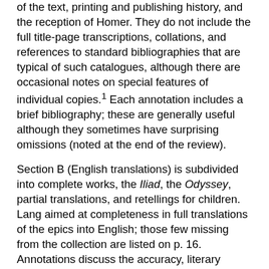of the text, printing and publishing history, and the reception of Homer. They do not include the full title-page transcriptions, collations, and references to standard bibliographies that are typical of such catalogues, although there are occasional notes on special features of individual copies.¹ Each annotation includes a brief bibliography; these are generally useful although they sometimes have surprising omissions (noted at the end of the review).
Section B (English translations) is subdivided into complete works, the Iliad, the Odyssey, partial translations, and retellings for children. Lang aimed at completeness in full translations of the epics into English; those few missing from the collection are listed on p. 16. Annotations discuss the accuracy, literary qualities, and critical reception of each, along with any significance for the history of printing and publishing. The bibliographies often include contemporary reviews as well as biographical references on translators. One especially useful feature is the inclusion of the first two lines of Homer from each English translation, so that readers can get a quick taste of each and readily compare one to another. Section C covers translations into other languages